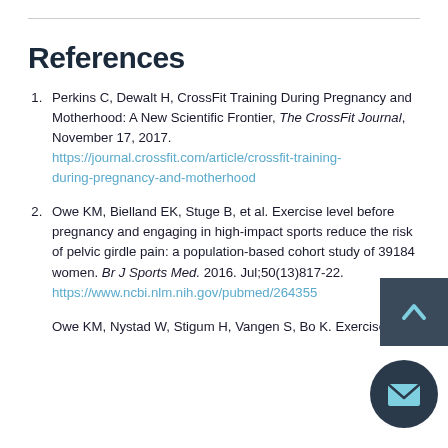References
Perkins C, Dewalt H, CrossFit Training During Pregnancy and Motherhood: A New Scientific Frontier, The CrossFit Journal, November 17, 2017. https://journal.crossfit.com/article/crossfit-training-during-pregnancy-and-motherhood
Owe KM, Bielland EK, Stuge B, et al. Exercise level before pregnancy and engaging in high-impact sports reduce the risk of pelvic girdle pain: a population-based cohort study of 39184 women. Br J Sports Med. 2016. Jul;50(13)817-22. https://www.ncbi.nlm.nih.gov/pubmed/2643559
Owe KM, Nystad W, Stigum H, Vangen S, Bo K. Exercise...